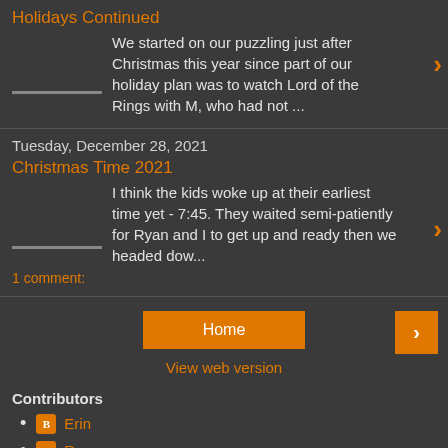Holidays Continued
We started on our puzzling just after Christmas this year since part of our holiday plan was to watch Lord of the Rings with M, who had not ...
Christmas Time 2021
Tuesday, December 28, 2021
I think the kids woke up at their earliest time yet - 7:45. They waited semi-patiently for Ryan and I to get up and ready then we headed dow...
1 comment:
Home
View web version
Contributors
Erin
Ryan